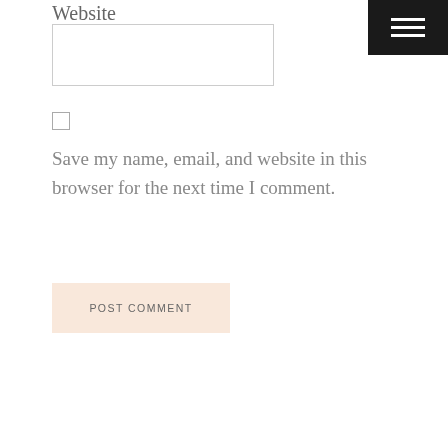Website
[Figure (screenshot): Text input field for Website URL]
[Figure (screenshot): Checkbox (unchecked)]
Save my name, email, and website in this browser for the next time I comment.
POST COMMENT